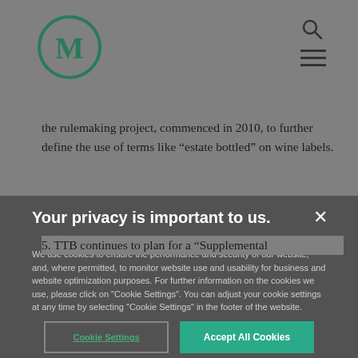M logo, search icon, menu icon
the rulemaking project, commenced in 2010, to further define the use of terms like “estate bottled” on wine labels.
5. TTB continues to plan for a “Supplemental
Your privacy is important to us.
We use cookies to ensure the performance and security of our website, and, where permitted, to monitor website use and usability for business and website optimization purposes. For further information on the cookies we use, please click on "Cookie Settings". You can adjust your cookie settings at any time by selecting "Cookie Settings" in the footer of the website.
Cookie Settings
Accept All Cookies